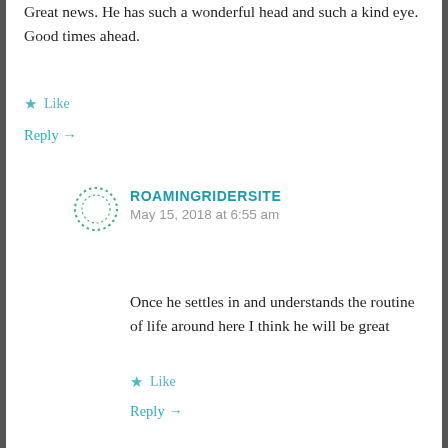Great news. He has such a wonderful head and such a kind eye. Good times ahead.
★ Like
Reply →
ROAMINGRIDERSITE
May 15, 2018 at 6:55 am
Once he settles in and understands the routine of life around here I think he will be great
★ Like
Reply →